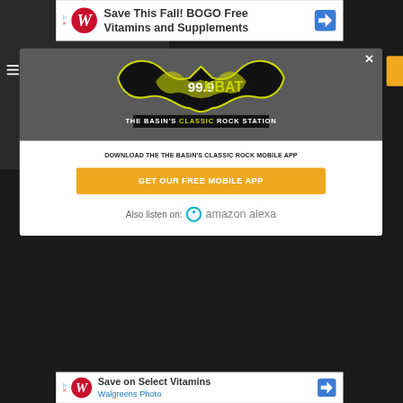[Figure (screenshot): Walgreens advertisement banner at top: 'Save This Fall! BOGO Free Vitamins and Supplements' with Walgreens W logo and blue arrow icon]
[Figure (logo): 99.9 KBAT - The Basin's Classic Rock Station logo with bat silhouette in yellow and black]
DOWNLOAD THE THE BASIN'S CLASSIC ROCK MOBILE APP
GET OUR FREE MOBILE APP
Also listen on: amazon alexa
[Figure (screenshot): Walgreens advertisement banner at bottom: 'Save on Select Vitamins / Walgreens Photo' with Walgreens W logo and blue arrow icon]